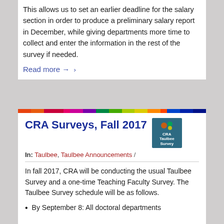This allows us to set an earlier deadline for the salary section in order to produce a preliminary salary report in December, while giving departments more time to collect and enter the information in the rest of the survey if needed.
Read more →
CRA Surveys, Fall 2017
In: Taulbee, Taulbee Announcements /
In fall 2017, CRA will be conducting the usual Taulbee Survey and a one-time Teaching Faculty Survey. The Taulbee Survey schedule will be as follows.
By September 8: All doctoral departments